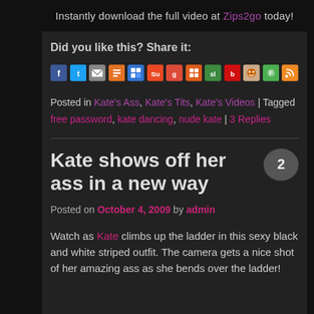Instantly download the full video at Zips2go today!
Did you like this? Share it:
[Figure (other): Row of social media sharing icons: Facebook, Twitter, Email, Blogger, Delicious, StumbleUpon, Google, AddThis, SlideShare, Bebo, Reddit, Fark, RSS]
Posted in Kate's Ass, Kate's Tits, Kate's Videos | Tagged free password, kate dancing, nude kate | 3 Replies
Kate shows off her ass in a new way
Posted on October 4, 2009 by admin
Watch as Kate climbs up the ladder in this sexy black and white striped outfit. The camera gets a nice shot of her amazing ass as she bends over the ladder!